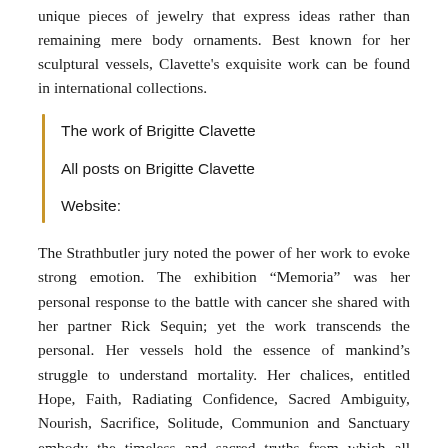unique pieces of jewelry that express ideas rather than remaining mere body ornaments. Best known for her sculptural vessels, Clavette's exquisite work can be found in international collections.
The work of Brigitte Clavette
All posts on Brigitte Clavette
Website:
The Strathbutler jury noted the power of her work to evoke strong emotion. The exhibition “Memoria” was her personal response to the battle with cancer she shared with her partner Rick Sequin; yet the work transcends the personal. Her vessels hold the essence of mankind’s struggle to understand mortality. Her chalices, entitled Hope, Faith, Radiating Confidence, Sacred Ambiguity, Nourish, Sacrifice, Solitude, Communion and Sanctuary embody the timeless and sacred truths from which all humanity must drink.